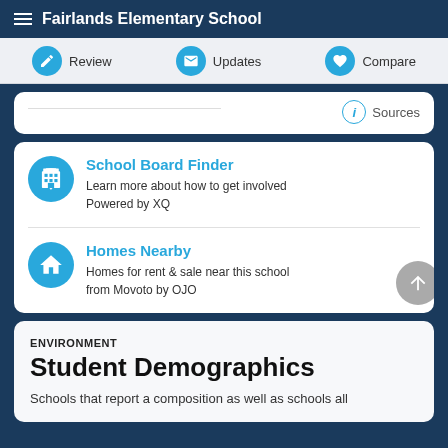Fairlands Elementary School
Review | Updates | Compare
Sources
School Board Finder
Learn more about how to get involved
Powered by XQ
Homes Nearby
Homes for rent & sale near this school
from Movoto by OJO
ENVIRONMENT
Student Demographics
Schools that report a composition as well as schools all...